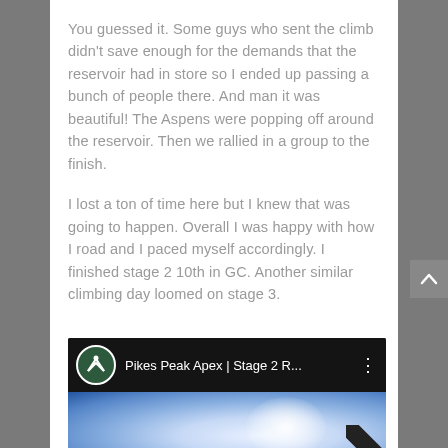You guessed it. Some guys who sent the climb didn't save enough for the demands that the reservoir had in store so I ended up passing a bunch of people there. And man it was beautiful! The Aspens were popping off around the reservoir. Then we rallied in a group to the finish.
I lost a ton of time here but I knew that was going to happen. Overall I was happy with how I road and I paced myself accordingly. I finished stage 2 10th in GC. Another similar climbing day loomed on stage 3.
[Figure (screenshot): YouTube video thumbnail for 'Pikes Peak Apex | Stage 2 R...' with a dark header showing a circular channel icon with a mountain/wave logo, the video title, and a three-dot menu icon. The preview image shows a blue sky with a bright white glow/sun and a dark diagonal element in the lower right corner.]